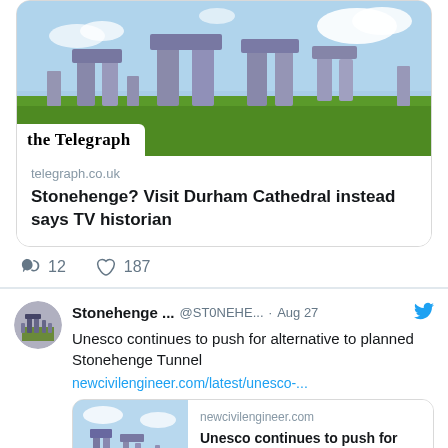[Figure (screenshot): Twitter/social media screenshot showing two tweets about Stonehenge. First tweet contains a Telegraph article link card with Stonehenge photo and title 'Stonehenge? Visit Durham Cathedral instead says TV historian'. Second tweet from @ST0NEHE... dated Aug 27 about Unesco pushing for alternative to planned Stonehenge Tunnel, with a link card from newcivilengineer.com.]
telegraph.co.uk
Stonehenge? Visit Durham Cathedral instead says TV historian
12   187
Stonehenge ... @ST0NEHE... · Aug 27
Unesco continues to push for alternative to planned Stonehenge Tunnel
newcivilengineer.com/latest/unesco-...
newcivilengineer.com
Unesco continues to push for alternative to planned ...